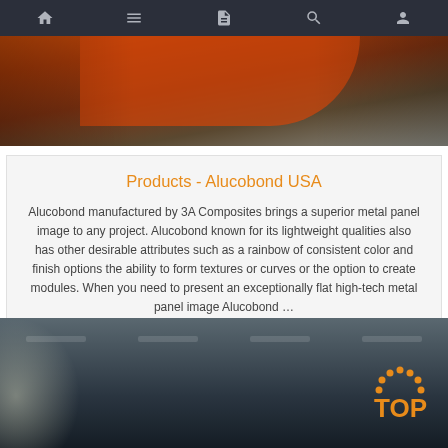Navigation bar with home, menu, document, search, and user icons
[Figure (photo): Top portion showing orange/red metal panels on a pallet or rack, close-up industrial materials photo]
Products - Alucobond USA
Alucobond manufactured by 3A Composites brings a superior metal panel image to any project. Alucobond known for its lightweight qualities also has other desirable attributes such as a rainbow of consistent color and finish options the ability to form textures or curves or the option to create modules. When you need to present an exceptionally flat high-tech metal panel image Alucobond …
Get Price
[Figure (photo): Bottom photo of a large industrial warehouse interior with steel roof trusses and fluorescent lighting; orange TOP badge visible in bottom right corner]